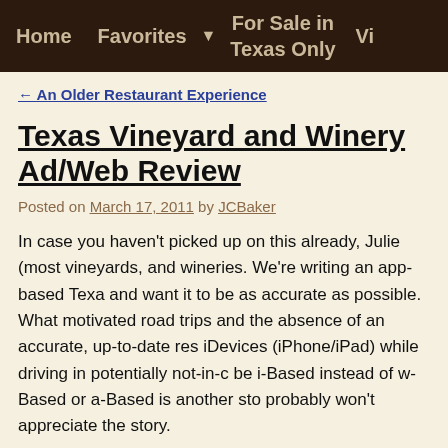Home   Favorites ▼   For Sale in Texas Only   Vi
← An Older Restaurant Experience
Texas Vineyard and Winery Ad/Web Review
Posted on March 17, 2011 by JCBaker
In case you haven't picked up on this already, Julie (most vineyards, and wineries. We're writing an app-based Texa and want it to be as accurate as possible. What motivated road trips and the absence of an accurate, up-to-date res iDevices (iPhone/iPad) while driving in potentially not-in-c be i-Based instead of w-Based or a-Based is another sto probably won't appreciate the story.
Back to the topic, I think. What was the topic, anyway? O
We have spent a lot of time collecting information for our